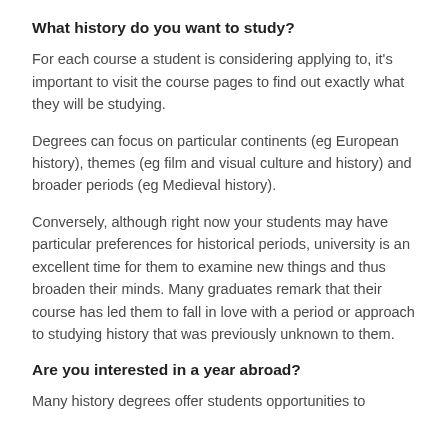What history do you want to study?
For each course a student is considering applying to, it's important to visit the course pages to find out exactly what they will be studying.
Degrees can focus on particular continents (eg European history), themes (eg film and visual culture and history) and broader periods (eg Medieval history).
Conversely, although right now your students may have particular preferences for historical periods, university is an excellent time for them to examine new things and thus broaden their minds. Many graduates remark that their course has led them to fall in love with a period or approach to studying history that was previously unknown to them.
Are you interested in a year abroad?
Many history degrees offer students opportunities to